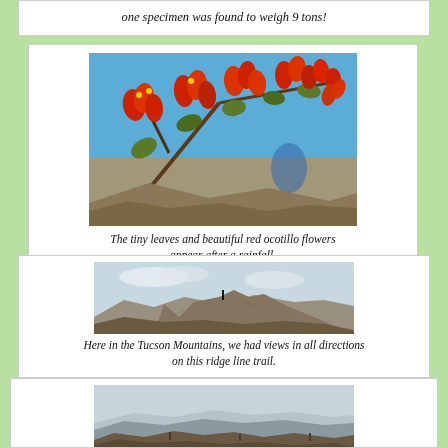one specimen was found to weigh 9 tons!
[Figure (photo): Close-up photograph of bright red ocotillo flowers and small leaves against a blue sky and rocky desert background]
The tiny leaves and beautiful red ocotillo flowers appear after a rainfall.
[Figure (photo): Panoramic view of Tucson Mountains ridge line with rocky peaks and wide desert views]
Here in the Tucson Mountains, we had views in all directions on this ridge line trail.
[Figure (photo): Aerial view of desert valley and mountain ranges in the distance with rocky foreground]